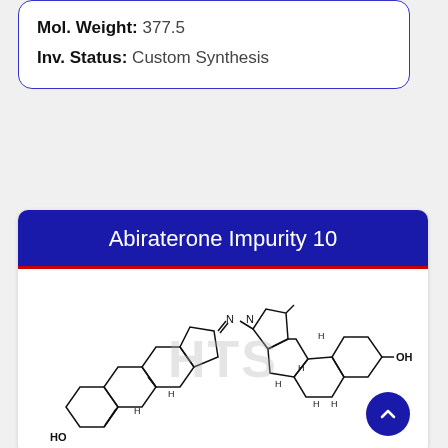Mol. Weight: 377.5
Inv. Status: Custom Synthesis
Abiraterone Impurity 10
[Figure (engineering-diagram): Chemical structure (skeletal formula) of Abiraterone Impurity 10, a steroid dimer connected via a hydrazone (N=N) linkage, with HO groups at both ends of the molecule.]